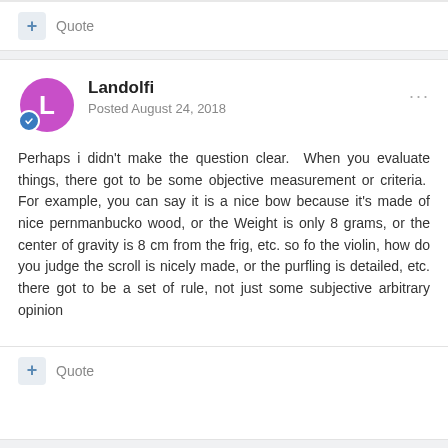+ Quote
Landolfi
Posted August 24, 2018
Perhaps i didn't make the question clear.  When you evaluate things, there got to be some objective measurement or criteria.  For example, you can say it is a nice bow because it's made of nice pernmanbucko wood, or the Weight is only 8 grams, or the center of gravity is 8 cm from the frig, etc. so fo the violin, how do you judge the scroll is nicely made, or the purfling is detailed, etc. there got to be a set of rule, not just some subjective arbitrary opinion
+ Quote